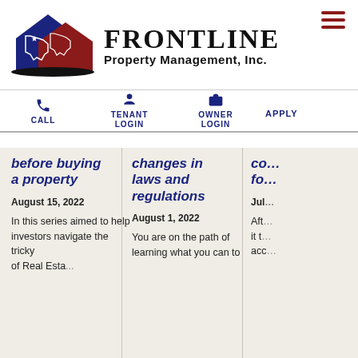[Figure (logo): Frontline Property Management, Inc. logo with Texas state outline in blue and red house shapes with a star]
FRONTLINE Property Management, Inc.
CALL | TENANT LOGIN | OWNER LOGIN | APPLY
before buying a property
August 15, 2022
In this series aimed to help investors navigate the tricky of Real Esta...
changes in laws and regulations
August 1, 2022
You are on the path of learning what you can to
co... fo...
Jul...
Aft... it t... acc...